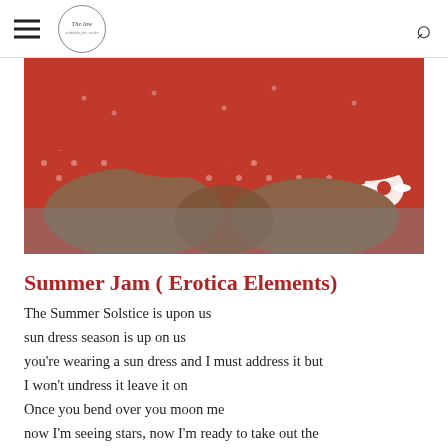The law — navigation logo and search icon
[Figure (photo): Close-up photograph of a person wearing a red and white floral/daisy polka-dot sundress, lying on a textured grey surface. The fabric shows white daisy flowers on a red polka-dot background.]
Summer Jam ( Erotica Elements)
The Summer Solstice is upon us
sun dress season is up on us
you're wearing a sun dress and I must address it but I won't undress it leave it on
Once you bend over you moon me
now I'm seeing stars, now I'm ready to take out the